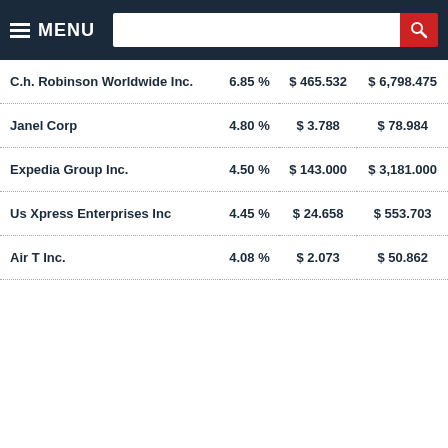MENU
| Company | Percentage | Price | Market Cap |
| --- | --- | --- | --- |
| C.h. Robinson Worldwide Inc. | 6.85 % | $ 465.532 | $ 6,798.475 |
| Janel Corp | 4.80 % | $ 3.788 | $ 78.984 |
| Expedia Group Inc. | 4.50 % | $ 143.000 | $ 3,181.000 |
| Us Xpress Enterprises Inc | 4.45 % | $ 24.658 | $ 553.703 |
| Air T Inc. | 4.08 % | $ 2.073 | $ 50.862 |